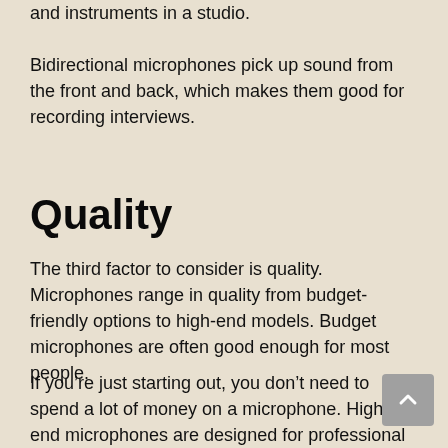and instruments in a studio.
Bidirectional microphones pick up sound from the front and back, which makes them good for recording interviews.
Quality
The third factor to consider is quality. Microphones range in quality from budget-friendly options to high-end models. Budget microphones are often good enough for most people.
If you’re just starting out, you don’t need to spend a lot of money on a microphone. High-end microphones are designed for professional use. They offer superior sound